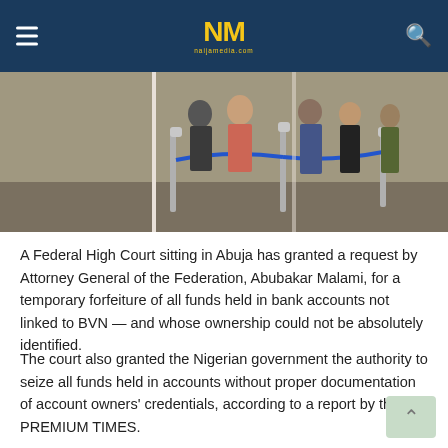NM naijamedia.com
[Figure (photo): People standing in a queue at a bank, separated by rope barriers on metal stands]
A Federal High Court sitting in Abuja has granted a request by Attorney General of the Federation, Abubakar Malami, for a temporary forfeiture of all funds held in bank accounts not linked to BVN — and whose ownership could not be absolutely identified.
The court also granted the Nigerian government the authority to seize all funds held in accounts without proper documentation of account owners' credentials, according to a report by the PREMIUM TIMES.